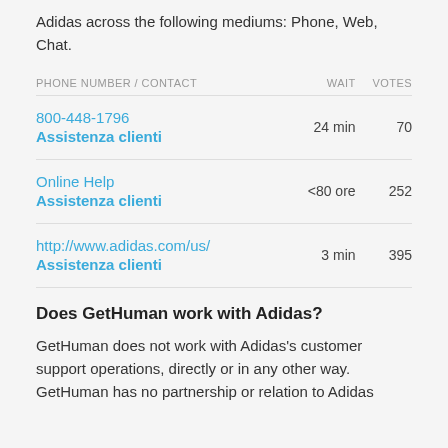Adidas across the following mediums: Phone, Web, Chat.
| PHONE NUMBER / CONTACT | WAIT | VOTES |
| --- | --- | --- |
| 800-448-1796
Assistenza clienti | 24 min | 70 |
| Online Help
Assistenza clienti | <80 ore | 252 |
| http://www.adidas.com/us/
Assistenza clienti | 3 min | 395 |
Does GetHuman work with Adidas?
GetHuman does not work with Adidas's customer support operations, directly or in any other way. GetHuman has no partnership or relation to Adidas